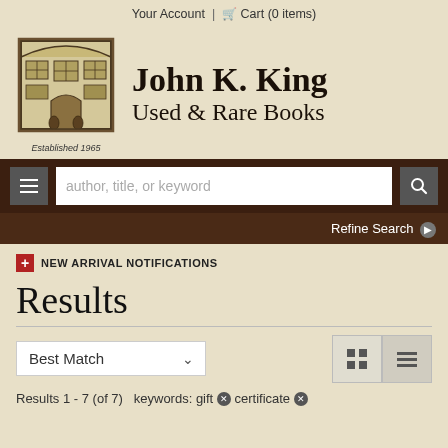Your Account  |  Cart (0 items)
[Figure (logo): John K. King Used & Rare Books store logo illustration showing a building with books, established 1965]
John K. King
Used & Rare Books
author, title, or keyword (search bar)
Refine Search ▶
NEW ARRIVAL NOTIFICATIONS
Results
Best Match (sort dropdown)
Results 1 - 7 (of 7)  keywords: gift ✕ certificate ✕